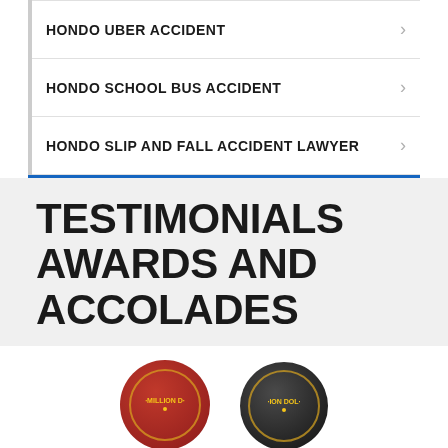HONDO UBER ACCIDENT
HONDO SCHOOL BUS ACCIDENT
HONDO SLIP AND FALL ACCIDENT LAWYER
TESTIMONIALS
AWARDS AND ACCOLADES
[Figure (illustration): Two circular badge/seal logos partially visible at bottom: one red badge and one black badge, both appearing to be 'Million Dollar' advocate or similar legal award seals with gold lettering and border]